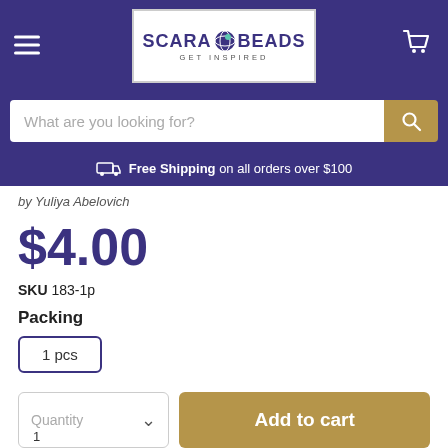[Figure (logo): Scara Beads logo with globe icon and tagline GET INSPIRED on white background in purple header]
What are you looking for?
Free Shipping on all orders over $100
by Yuliya Abelovich
$4.00
SKU 183-1p
Packing
1 pcs
Quantity
Add to cart